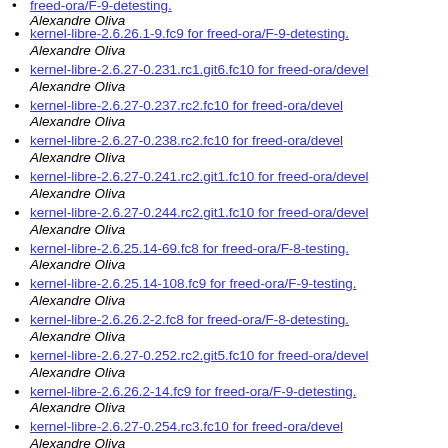freed-ora/F-9-detesting. Alexandre Oliva
kernel-libre-2.6.26.1-9.fc9 for freed-ora/F-9-detesting. Alexandre Oliva
kernel-libre-2.6.27-0.231.rc1.git6.fc10 for freed-ora/devel Alexandre Oliva
kernel-libre-2.6.27-0.237.rc2.fc10 for freed-ora/devel Alexandre Oliva
kernel-libre-2.6.27-0.238.rc2.fc10 for freed-ora/devel Alexandre Oliva
kernel-libre-2.6.27-0.241.rc2.git1.fc10 for freed-ora/devel Alexandre Oliva
kernel-libre-2.6.27-0.244.rc2.git1.fc10 for freed-ora/devel Alexandre Oliva
kernel-libre-2.6.25.14-69.fc8 for freed-ora/F-8-testing. Alexandre Oliva
kernel-libre-2.6.25.14-108.fc9 for freed-ora/F-9-testing. Alexandre Oliva
kernel-libre-2.6.26.2-2.fc8 for freed-ora/F-8-detesting. Alexandre Oliva
kernel-libre-2.6.27-0.252.rc2.git5.fc10 for freed-ora/devel Alexandre Oliva
kernel-libre-2.6.26.2-14.fc9 for freed-ora/F-9-detesting. Alexandre Oliva
kernel-libre-2.6.27-0.254.rc3.fc10 for freed-ora/devel Alexandre Oliva
kernel-libre-2.6.26.2-[?].fc[?] for freed-ora/[?]-detesting Alexandre Oliva